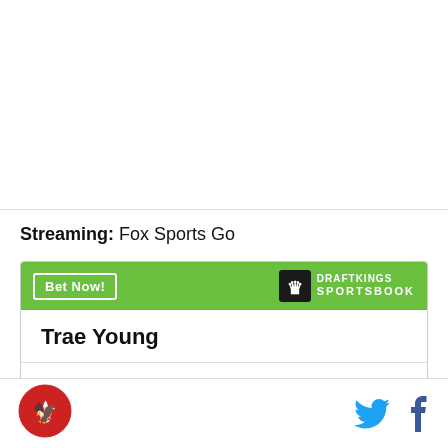Streaming: Fox Sports Go
| Player | Bet | Odds |
| --- | --- | --- |
| Trae Young | To win MVP | +3500 |
SB Nation logo | Twitter icon | Facebook icon